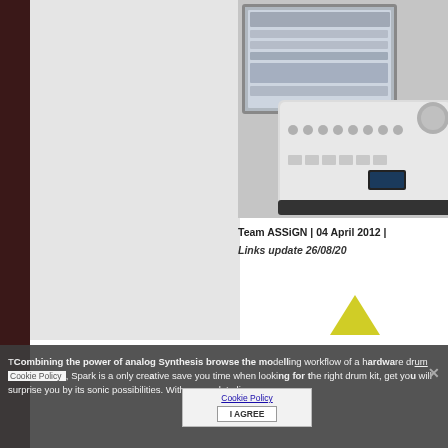[Figure (photo): Screenshot showing a drum machine/synthesizer hardware device (Arturia Spark) alongside its software interface on a computer screen. The hardware is a white/silver unit with pads, knobs and buttons. The software interface mirrors the hardware layout.]
Team ASSiGN | 04 April 2012 |
Links update 26/08/20
Combining the power of analog Synthesis browse the modelling workflow of a hardware drum, Spark is a only creative save you time when looking for the right drum kit, get you will surprise you by its sonic possibilities. With a complete li